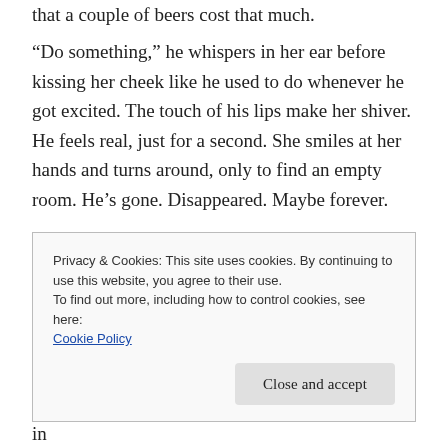that a couple of beers cost that much.
“Do something,” he whispers in her ear before kissing her cheek like he used to do whenever he got excited. The touch of his lips make her shiver. He feels real, just for a second. She smiles at her hands and turns around, only to find an empty room. He’s gone. Disappeared. Maybe forever.
Weeks pass and Frankie slowly starts to understand the meaning of her dream. She gets up, day after day, and thinks things through. It takes her a while, but then it
Privacy & Cookies: This site uses cookies. By continuing to use this website, you agree to their use.
To find out more, including how to control cookies, see here:
Cookie Policy
Close and accept
happily tags along. Frankie looks around and calls in